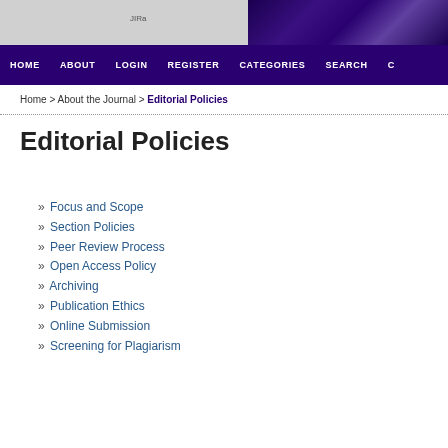HOME  ABOUT  LOGIN  REGISTER  CATEGORIES  SEARCH
Home > About the Journal > Editorial Policies
Editorial Policies
» Focus and Scope
» Section Policies
» Peer Review Process
» Open Access Policy
» Archiving
» Publication Ethics
» Online Submission
» Screening for Plagiarism